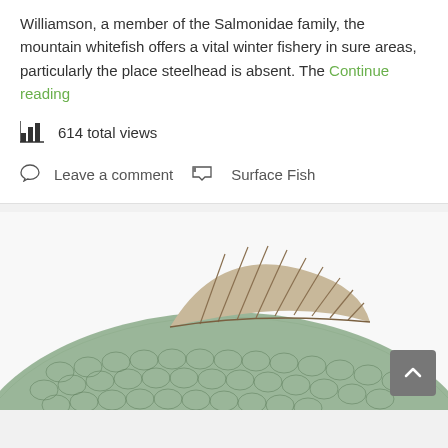Williamson, a member of the Salmonidae family, the mountain whitefish offers a vital winter fishery in sure areas, particularly the place steelhead is absent. The Continue reading
614 total views
Leave a comment   Surface Fish
[Figure (photo): Close-up illustration of a fish showing its dorsal fin and scaled body. The fish has greenish-grey scales and a prominent striped dorsal fin with brown/orange coloring. The image is cropped showing the upper body and fin against a white background.]